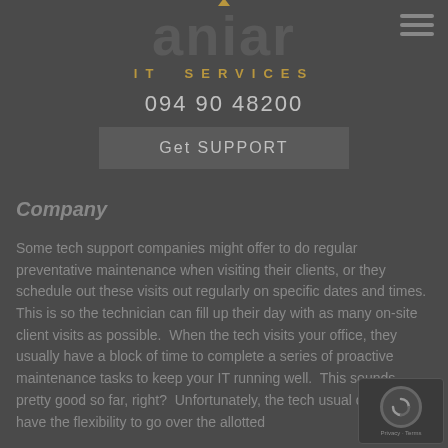[Figure (logo): Aniar IT Services logo in dark grey with golden 'IT SERVICES' text below]
094 90 48200
Get SUPPORT
Company
Some tech support companies might offer to do regular preventative maintenance when visiting their clients, or they schedule out these visits out regularly on specific dates and times.  This is so the technician can fill up their day with as many on-site client visits as possible.  When the tech visits your office, they usually have a block of time to complete a series of proactive maintenance tasks to keep your IT running well.  This sounds pretty good so far, right?  Unfortunately, the tech usual doesn't have the flexibility to go over the allotted